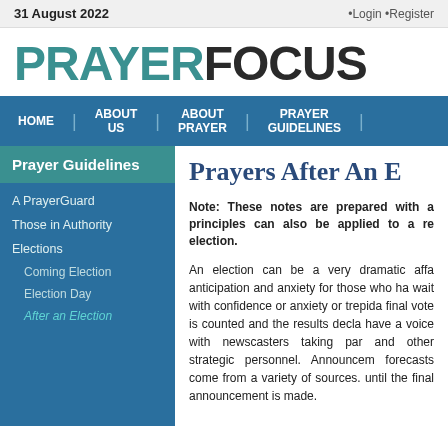31 August 2022 | •Login •Register
PRAYERFOCUS
HOME | ABOUT US | ABOUT PRAYER | PRAYER GUIDELINES |
Prayer Guidelines
A PrayerGuard
Those in Authority
Elections
Coming Election
Election Day
After an Election
Prayers After An E
Note: These notes are prepared with a principles can also be applied to a re election.
An election can be a very dramatic affa anticipation and anxiety for those who ha wait with confidence or anxiety or trepida final vote is counted and the results decla have a voice with newscasters taking par and other strategic personnel. Announcemen forecasts come from a variety of sources. until the final announcement is made.